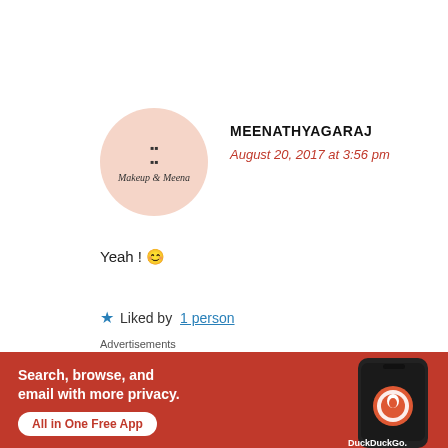[Figure (logo): Circular avatar with peach background showing 'Makeup & Meena' script text with small grid icon]
MEENATHYAGARAJ
August 20, 2017 at 3:56 pm
Yeah ! 😊
★ Liked by 1 person
[Figure (advertisement): DuckDuckGo advertisement banner with orange/red background. Text: 'Search, browse, and email with more privacy. All in One Free App'. Shows phone with DuckDuckGo logo.]